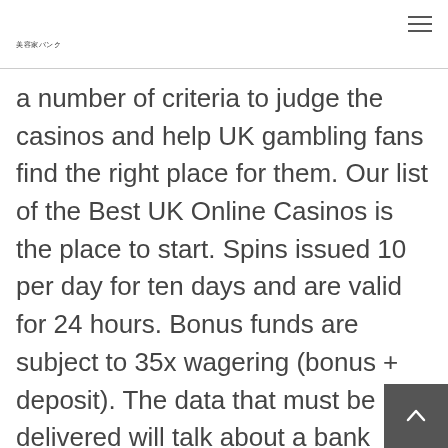美容家バンク
a number of criteria to judge the casinos and help UK gambling fans find the right place for them. Our list of the Best UK Online Casinos is the place to start. Spins issued 10 per day for ten days and are valid for 24 hours. Bonus funds are subject to 35x wagering (bonus + deposit). The data that must be delivered will talk about a bank account or bank card that could be used in order to finance the actual accounts.